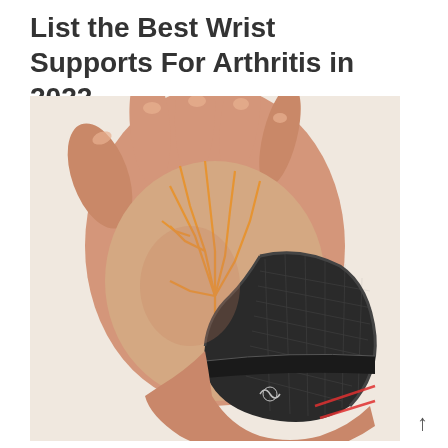List the Best Wrist Supports For Arthritis in 2022
[Figure (photo): A hand wearing a black wrist support brace for arthritis. The palm side of the hand shows orange nerve/tendon lines illustrated over the skin. The wrist brace is dark grey/black with textured fabric and a velcro strap. The wrist area shows red lines indicating pain points.]